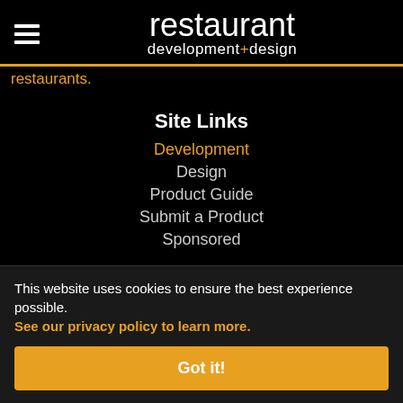restaurant development+design
restaurants.
Site Links
Development
Design
Product Guide
Submit a Product
Sponsored
Resources
About rd+d
Accolades
This website uses cookies to ensure the best experience possible. See our privacy policy to learn more.
Got it!